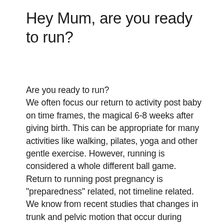Hey Mum, are you ready to run?
Are you ready to run? We often focus our return to activity post baby on time frames, the magical 6-8 weeks after giving birth. This can be appropriate for many activities like walking, pilates, yoga and other gentle exercise. However, running is considered a whole different ball game. Return to running post pregnancy is “preparedness” related, not timeline related. We know from recent studies that changes in trunk and pelvic motion that occur during running (to be continued)